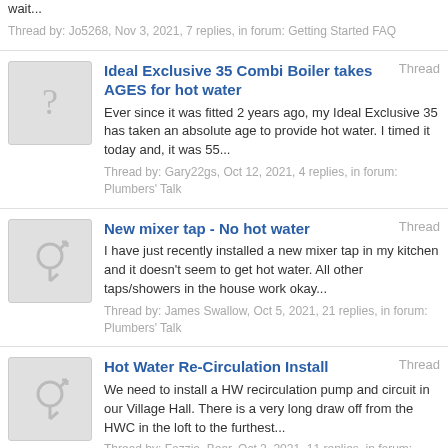wait...
Thread by: Jo5268, Nov 3, 2021, 7 replies, in forum: Getting Started FAQ
Ideal Exclusive 35 Combi Boiler takes AGES for hot water | Thread | Ever since it was fitted 2 years ago, my Ideal Exclusive 35 has taken an absolute age to provide hot water. I timed it today and, it was 55... | Thread by: Gary22gs, Oct 12, 2021, 4 replies, in forum: Plumbers' Talk
New mixer tap - No hot water | Thread | I have just recently installed a new mixer tap in my kitchen and it doesn't seem to get hot water. All other taps/showers in the house work okay... | Thread by: James Swallow, Oct 5, 2021, 21 replies, in forum: Plumbers' Talk
Hot Water Re-Circulation Install | Thread | We need to install a HW recirculation pump and circuit in our Village Hall. There is a very long draw off from the HWC in the loft to the furthest... | Thread by: Fozzie_Bear, Oct 2, 2021, 11 replies, in forum: Plumbers' Talk